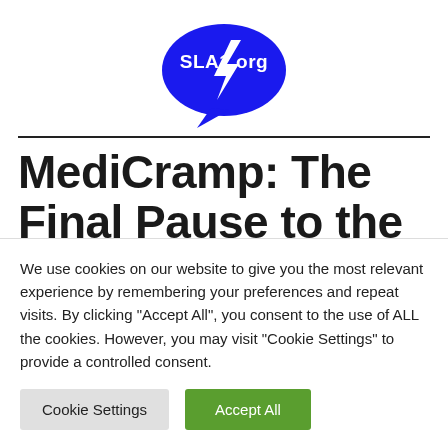[Figure (logo): SLA1.org speech bubble logo in blue with white text and a lightning bolt icon]
MediCramp: The Final Pause to the misery of Muscle Cramps
We use cookies on our website to give you the most relevant experience by remembering your preferences and repeat visits. By clicking "Accept All", you consent to the use of ALL the cookies. However, you may visit "Cookie Settings" to provide a controlled consent.